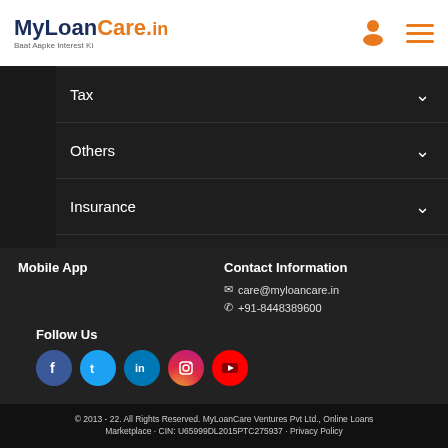MyLoanCare.in — Baat Aapke Interest Ki
Tax
Others
Insurance
PMAY
Land Records
Mobile App
Contact Information
care@myloancare.in
+91-8448389600
Follow Us
[Figure (other): Social media icons: Facebook, Twitter, LinkedIn, Instagram, YouTube]
© 2013 - 22. All Rights Reserved. MyLoanCare Ventures Pvt Ltd., Online Loans